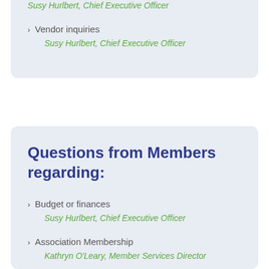Vendor inquiries
Susy Hurlbert, Chief Executive Officer
Questions from Members regarding:
Budget or finances
Susy Hurlbert, Chief Executive Officer
Association Membership
Kathryn O'Leary, Member Services Director